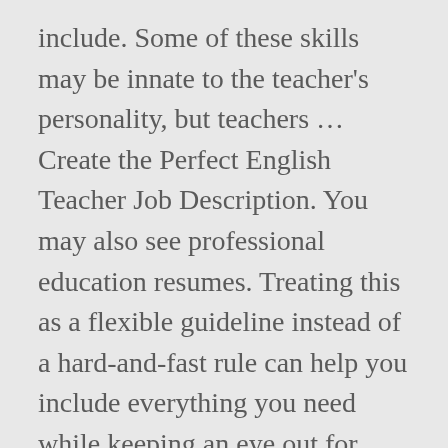include. Some of these skills may be innate to the teacher's personality, but teachers ... Create the Perfect English Teacher Job Description. You may also see professional education resumes. Treating this as a flexible guideline instead of a hard-and-fast rule can help you include everything you need while keeping an eye out for excessive verbiage. The teacher resume templates that we have can ... Try to include ... Don't forget to include any professional development or other non-college training in this section that relates to the job for which you are applying.15. 6. Dedicated to helping job seekers find work during the pandemic. Use only three bullet points or sentences to create this section in